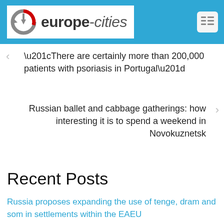[Figure (logo): europe-cities website logo with circular arrow icon in grey and red]
“There are certainly more than 200,000 patients with psoriasis in Portugal”
Russian ballet and cabbage gatherings: how interesting it is to spend a weekend in Novokuznetsk
Recent Posts
Russia proposes expanding the use of tenge, dram and som in settlements within the EAEU